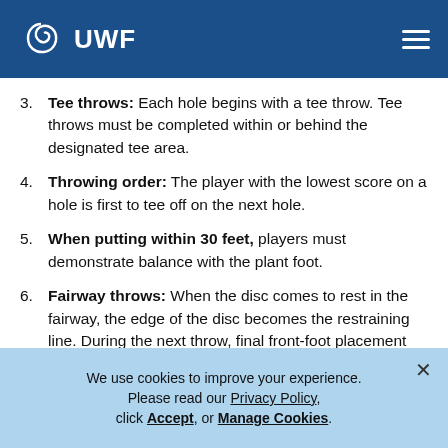UWF
Tee throws: Each hole begins with a tee throw. Tee throws must be completed within or behind the designated tee area.
Throwing order: The player with the lowest score on a hole is first to tee off on the next hole.
When putting within 30 feet, players must demonstrate balance with the plant foot.
Fairway throws: When the disc comes to rest in the fairway, the edge of the disc becomes the restraining line. During the next throw, final front-foot placement should not pass the front edge of the disc. A run-up and normal follow-
We use cookies to improve your experience. Please read our Privacy Policy, click Accept, or Manage Cookies.